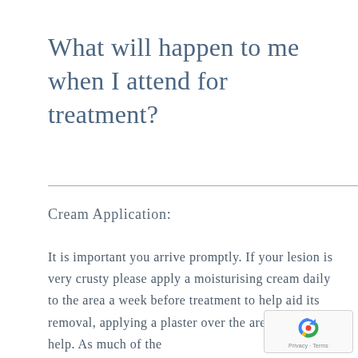What will happen to me when I attend for treatment?
Cream Application:
It is important you arrive promptly. If your lesion is very crusty please apply a moisturising cream daily to the area a week before treatment to help aid its removal, applying a plaster over the area will also help. As much of the